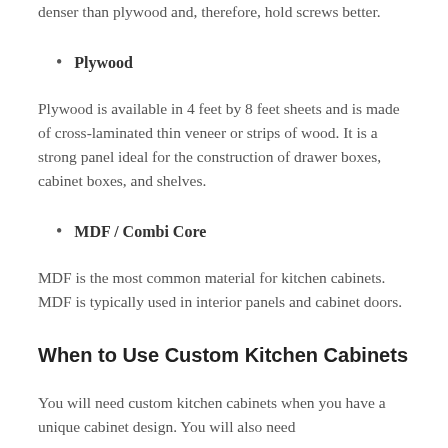denser than plywood and, therefore, hold screws better.
Plywood
Plywood is available in 4 feet by 8 feet sheets and is made of cross-laminated thin veneer or strips of wood. It is a strong panel ideal for the construction of drawer boxes, cabinet boxes, and shelves.
MDF / Combi Core
MDF is the most common material for kitchen cabinets. MDF is typically used in interior panels and cabinet doors.
When to Use Custom Kitchen Cabinets
You will need custom kitchen cabinets when you have a unique cabinet design. You will also need